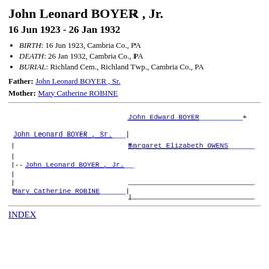John Leonard BOYER , Jr.
16 Jun 1923 - 26 Jan 1932
BIRTH: 16 Jun 1923, Cambria Co., PA
DEATH: 26 Jan 1932, Cambria Co., PA
BURIAL: Richland Cem., Richland Twp., Cambria Co., PA
Father: John Leonard BOYER , Sr.
Mother: Mary Catherine ROBINE
[Figure (other): Genealogy tree diagram showing family relationships for John Leonard BOYER Jr., linking to parents John Leonard BOYER Sr. and Mary Catherine ROBINE, and grandparents John Edward BOYER and Margaret Elizabeth OWENS]
INDEX